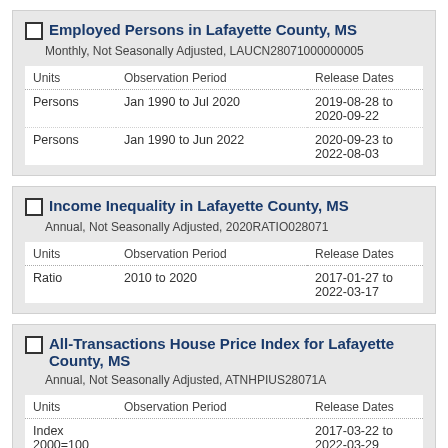Employed Persons in Lafayette County, MS
Monthly, Not Seasonally Adjusted, LAUCN28071000000005
| Units | Observation Period | Release Dates |
| --- | --- | --- |
| Persons | Jan 1990 to Jul 2020 | 2019-08-28 to 2020-09-22 |
| Persons | Jan 1990 to Jun 2022 | 2020-09-23 to 2022-08-03 |
Income Inequality in Lafayette County, MS
Annual, Not Seasonally Adjusted, 2020RATIO028071
| Units | Observation Period | Release Dates |
| --- | --- | --- |
| Ratio | 2010 to 2020 | 2017-01-27 to 2022-03-17 |
All-Transactions House Price Index for Lafayette County, MS
Annual, Not Seasonally Adjusted, ATNHPIUS28071A
| Units | Observation Period | Release Dates |
| --- | --- | --- |
| Index 2000=100 |  | 2017-03-22 to 2022-03-29 |
|  | 1986 to 2021 |  |